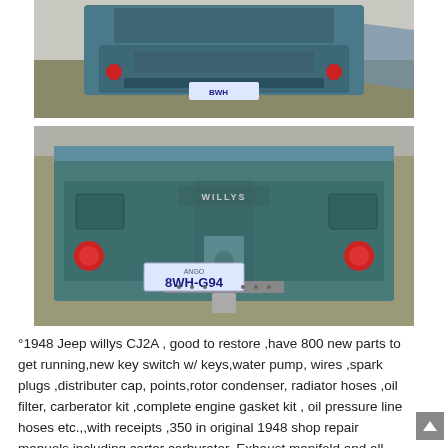[Figure (photo): Rear view of a 1948 Jeep Willys CJ2A, blue color, license plate BWH-G94, parked on grass/dry ground, tailgate open, viewed from behind]
[Figure (photo): Closer rear view of a 1948 Jeep Willys CJ2A, blue/teal color, license plate BWH-G94, showing WILLYS badge on tailgate, trailer hitch, red taillights, parked on dry grass]
°1948 Jeep willys CJ2A , good to restore ,have 800 new parts to get running,new key switch w/ keys,water pump, wires ,spark plugs ,distributer cap, points,rotor condenser, radiator hoses ,oil filter, carberator kit ,complete engine gasket kit , oil pressure line hoses etc.,,with receipts ,350 in original 1948 shop repair manuols including carter carburator, Exhaust manifold and all